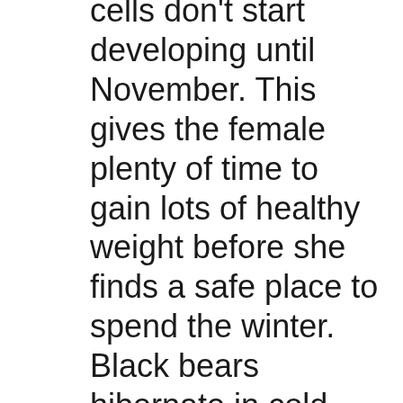cells don't start developing until November. This gives the female plenty of time to gain lots of healthy weight before she finds a safe place to spend the winter. Black bears hibernate in cold weather, although scientists are still debating whether its metabolic changes constitute true hibernation. A bear will use a hollow tree or small cave as a den, or will dig a den. It gets comfortable in its den and soon its heart rate starts to drop until it only beats about 8 times a minute. Its body temperature stays about the same as usual and unlike many other animals that hibernate, it's not sound asleep the whole time. It spends a lot of time awake and may even get up and move around, maybe even go out on nice days and look for food. Mostly, though, a hibernating bear doesn't eat or drink, and it doesn't need to defecate or urinate. Once the weather starts warming up, it emerges from its den and spends a few weeks just roaming